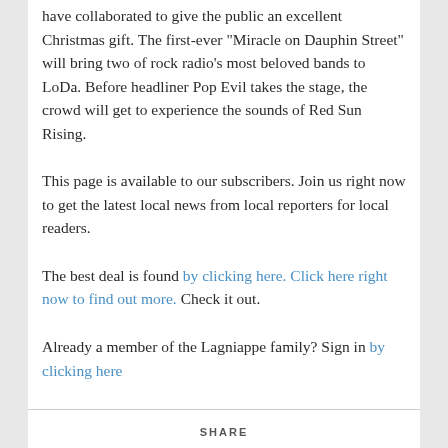have collaborated to give the public an excellent Christmas gift. The first-ever “Miracle on Dauphin Street” will bring two of rock radio’s most beloved bands to LoDa. Before headliner Pop Evil takes the stage, the crowd will get to experience the sounds of Red Sun Rising.
This page is available to our subscribers. Join us right now to get the latest local news from local reporters for local readers.
The best deal is found by clicking here. Click here right now to find out more. Check it out.
Already a member of the Lagniappe family? Sign in by clicking here
SHARE